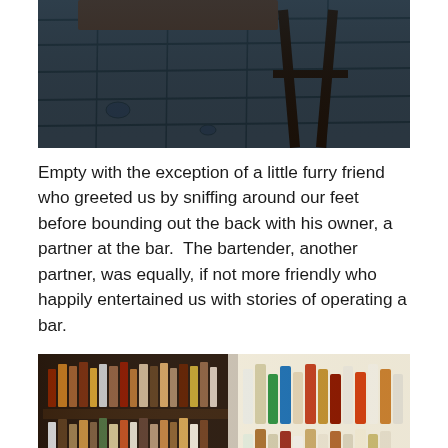[Figure (photo): A bar stool and wooden floor visible from above, dark moody tones with blue-grey wooden planks]
Empty with the exception of a little furry friend who greeted us by sniffing around our feet before bounding out the back with his owner, a partner at the bar.  The bartender, another partner, was equally, if not more friendly who happily entertained us with stories of operating a bar.
[Figure (photo): Shelves of whiskey and spirits bottles on dark wooden shelving at a bar, with many varieties including Japanese whisky visible]